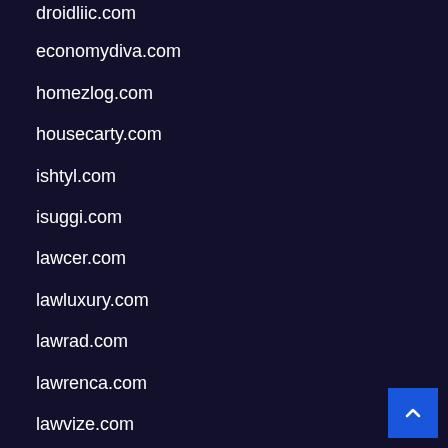droidliic.com
economydiva.com
homezlog.com
housecarty.com
ishtyl.com
isuggi.com
lawcer.com
lawluxury.com
lawrad.com
lawrenca.com
lawvize.com
legaltity.com
leosty.com
liveita.com
moneyblo.com